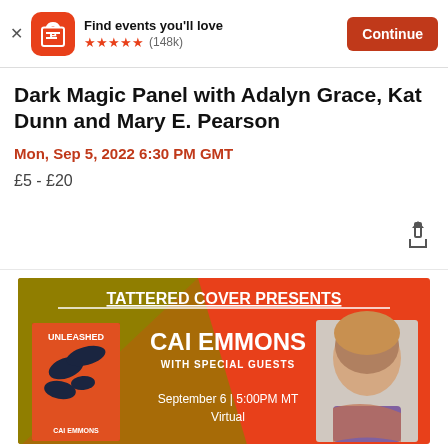[Figure (screenshot): App store banner for Eventbrite app with orange icon showing stylized 'e', star rating, and Continue button]
Dark Magic Panel with Adalyn Grace, Kat Dunn and Mary E. Pearson
Mon, Sep 5, 2022 6:30 PM GMT
£5 - £20
[Figure (infographic): Tattered Cover Presents promotional banner featuring Cai Emmons with book 'Unleashed', with special guests, September 6 5:00PM MT Virtual]